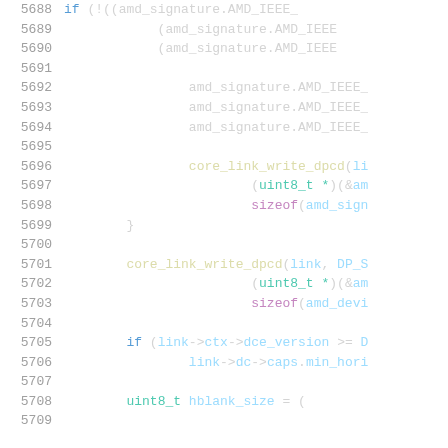Source code listing, lines 5688-5709, C code with syntax highlighting